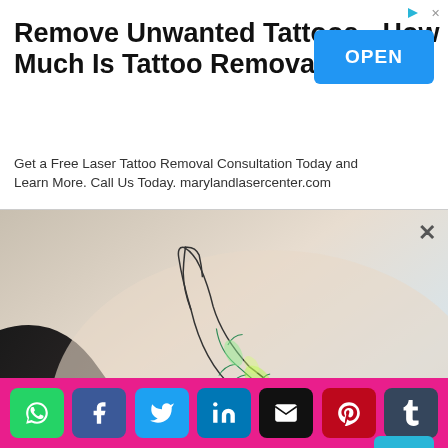Remove Unwanted Tattoos - How Much Is Tattoo Removal
Get a Free Laser Tattoo Removal Consultation Today and Learn More. Call Us Today. marylandlasercenter.com
[Figure (photo): Close-up photo of a person's rib/side area showing a small minimalist line-art tattoo of a seal/sea lion with green botanical/floral fill pattern inside its body outline.]
Social sharing bar with WhatsApp, Facebook, Twitter, LinkedIn, Email, Pinterest, Tumblr buttons